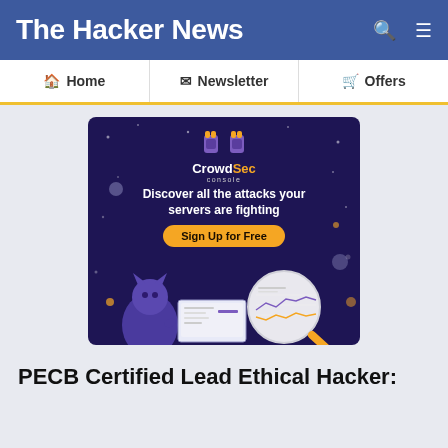The Hacker News
Home  Newsletter  Offers
[Figure (illustration): CrowdSec console advertisement banner with dark purple background. Shows 'CrowdSec console' logo at top with robot/guard mascots. Text reads 'Discover all the attacks your servers are fighting' with a yellow 'Sign Up for Free' button. Bottom shows an illustrated purple cat/fox character at a laptop with a magnifying glass showing server attack analytics charts.]
PECB Certified Lead Ethical Hacker: